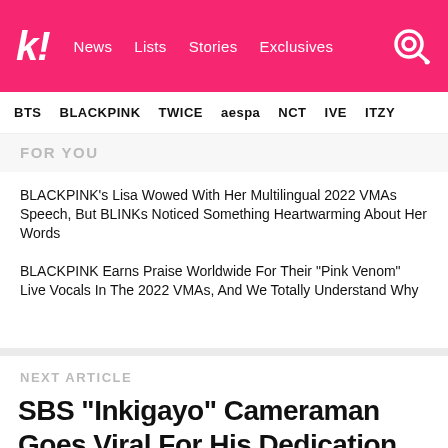koreaboo! | News | Lists | Stories | Exclusives
BTS | BLACKPINK | TWICE | aespa | NCT | IVE | ITZY
FOR YOU
BLACKPINK's Lisa Wowed With Her Multilingual 2022 VMAs Speech, But BLINKs Noticed Something Heartwarming About Her Words
BLACKPINK Earns Praise Worldwide For Their "Pink Venom" Live Vocals In The 2022 VMAs, And We Totally Understand Why
NEXT ARTICLE
SBS “Inkigayo” Cameraman Goes Viral For His Dedication To